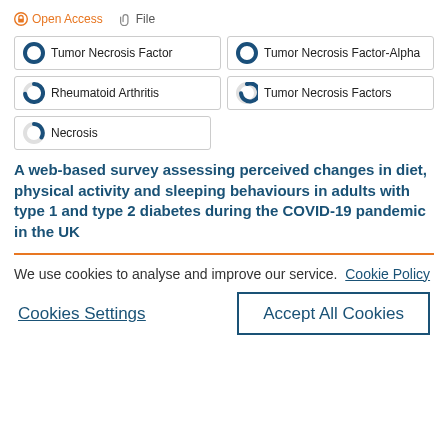Open Access  File
Tumor Necrosis Factor
Tumor Necrosis Factor-Alpha
Rheumatoid Arthritis
Tumor Necrosis Factors
Necrosis
A web-based survey assessing perceived changes in diet, physical activity and sleeping behaviours in adults with type 1 and type 2 diabetes during the COVID-19 pandemic in the UK
We use cookies to analyse and improve our service.  Cookie Policy
Cookies Settings
Accept All Cookies